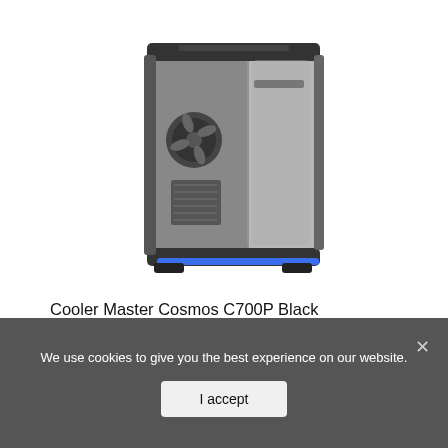[Figure (photo): Cooler Master Cosmos C700P Black Edition E-ATX Full-Tower PC case with curved tempered glass side panel and blue LED lighting at the base, shown at an angle against a white background.]
Cooler Master Cosmos C700P Black Edition E-ATX Full-Tower with Curved Tempered Glass Side Panel, ...
We use cookies to give you the best experience on our website.
I accept